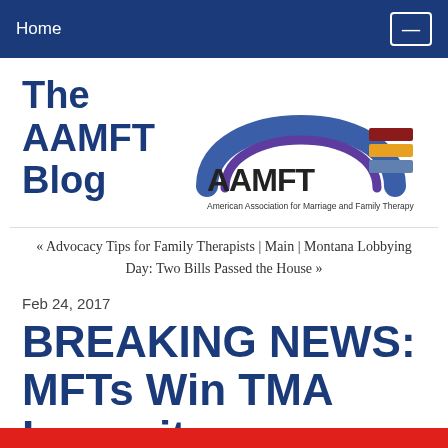Home
The AAMFT Blog
[Figure (logo): AAMFT logo with rainbow arch graphic and text 'AAMFT American Association for Marriage and Family Therapy']
« Advocacy Tips for Family Therapists | Main | Montana Lobbying Day: Two Bills Passed the House »
Feb 24, 2017
BREAKING NEWS: MFTs Win TMA Lawsuit